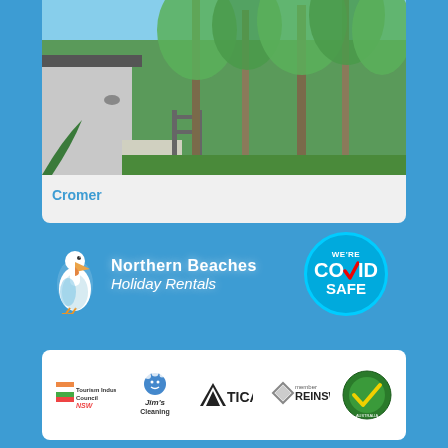[Figure (photo): Outdoor photo of a modern home exterior with tall eucalyptus trees under blue sky, located in Cromer]
Cromer
[Figure (logo): Northern Beaches Holiday Rentals logo with pelican mascot and white text]
[Figure (logo): We're COVID Safe badge - circular blue badge]
[Figure (logo): Footer logos: Tourism Industry Council NSW, Jim's Cleaning, ATICA, REINSW member, Accredited Tourism Australia]